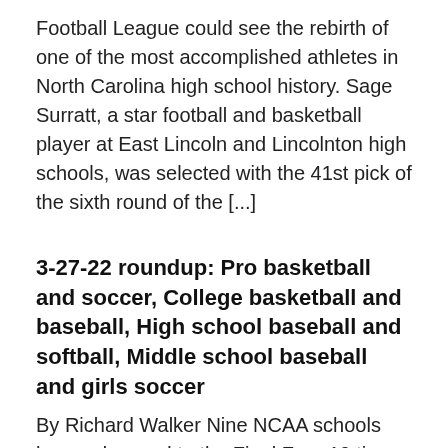Football League could see the rebirth of one of the most accomplished athletes in North Carolina high school history. Sage Surratt, a star football and basketball player at East Lincoln and Lincolnton high schools, was selected with the 41st pick of the sixth round of the [...]
3-27-22 roundup: Pro basketball and soccer, College basketball and baseball, High school baseball and softball, Middle school baseball and girls soccer
By Richard Walker Nine NCAA schools have advanced to the Final Four 10 times or more – and three of them have advanced to this year's Final Four as Duke, Kansas, North Carolina and Villanova make up the field that will play next weekend in New Orleans. North Carolina is making its record 21st Final [...]